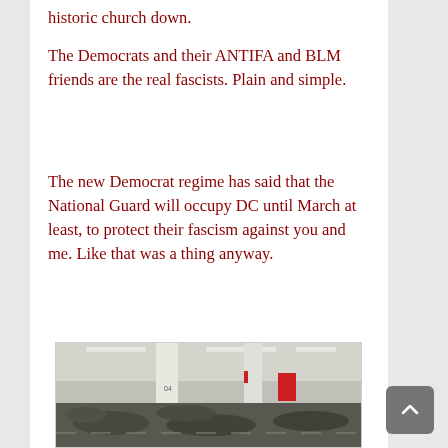historic church down.
The Democrats and their ANTIFA and BLM friends are the real fascists. Plain and simple.
The new Democrat regime has said that the National Guard will occupy DC until March at least, to protect their fascism against you and me. Like that was a thing anyway.
[Figure (photo): Photo of soldiers/National Guard members lying on the floor of what appears to be a parking garage or large indoor space, with white columns and a red stripe visible.]